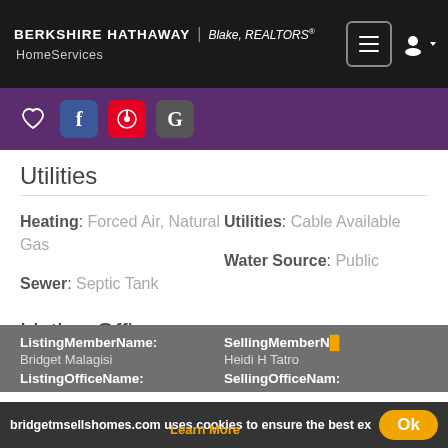BERKSHIRE HATHAWAY | Blake, REALTORS® HomeServices
Utilities
Heating: Forced Air, Natural Gas
Utilities: Cable Available
Sewer: Septic Tank
Water Source: Public
Listing Office
ListingMemberName: Bridget Malagisi
SellingMemberN... Heidi H Tatro
ListingOfficeName: SellingOfficeNam...
bridgetmsellshomes.com uses cookies to ensure the best ex...
Learn More